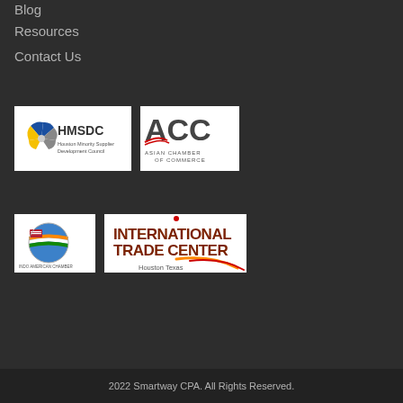Blog
Resources
Contact Us
[Figure (logo): HMSDC - Houston Minority Supplier Development Council logo]
[Figure (logo): ACC - Asian Chamber of Commerce logo]
[Figure (logo): Indo-American Chamber of Commerce logo]
[Figure (logo): International Trade Center Houston Texas logo]
2022 Smartway CPA. All Rights Reserved.